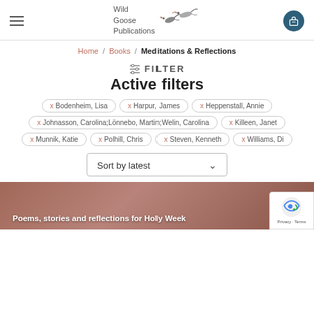Wild Goose Publications
Home / Books / Meditations & Reflections
FILTER
Active filters
x Bodenheim, Lisa
x Harpur, James
x Heppenstall, Annie
x Johnasson, Carolina;Lönnebo, Martin;Welin, Carolina
x Killeen, Janet
x Munnik, Katie
x Polhill, Chris
x Steven, Kenneth
x Williams, Di
Sort by latest
Poems, stories and reflections for Holy Week